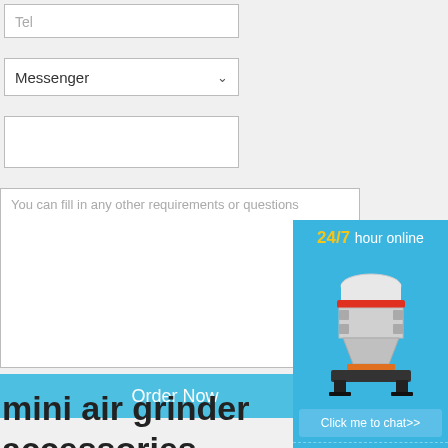Tel
Messenger
You can fill in any other requirements or questions
Order Now
[Figure (infographic): Blue sidebar widget showing '24/7 hour online' with an image of a cone crusher machine, a 'Click me to chat>>' button, 'Enquiry' section, and 'limingjlmofen' text]
mini air grinder accessories